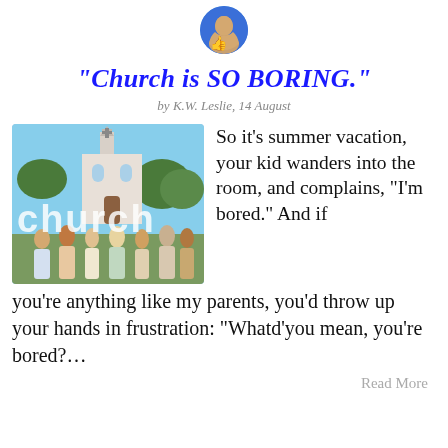[Figure (photo): Circular avatar photo of a person with thumbs up, blue background]
“Church is SO BORING.”
by K.W. Leslie, 14 August
[Figure (photo): Photo of a diverse group of people standing in front of a church building with the word 'church' overlaid in large white letters]
So it’s summer vacation, your kid wanders into the room, and complains, “I’m bored.” And if you’re anything like my parents, you’d throw up your hands in frustration: “Whatd’you mean, you’re bored?…
Read More